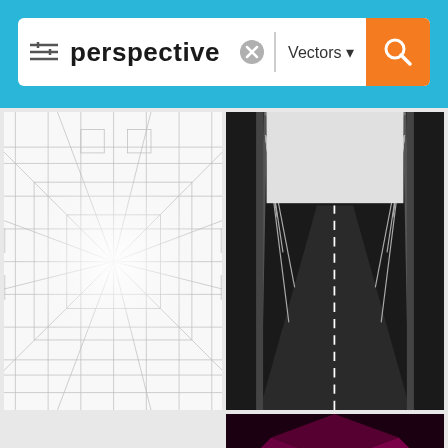[Figure (screenshot): Mobile app search interface showing search bar with 'perspective' query, Vectors filter, and orange search button on blue background]
[Figure (illustration): Vector illustration of perspective grid lines forming a corridor/room architectural wireframe in light gray]
[Figure (illustration): Vector illustration of a suspension bridge road in dramatic perspective view from below, dark/black tones]
[Figure (illustration): Vector illustration of two blue gemstones/diamonds - a round sapphire and a diamond cut gem on light gray background]
[Figure (illustration): Vector illustration of silhouette figures of women in pink/magenta interior perspective room scene]